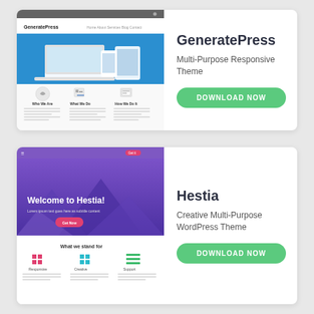[Figure (screenshot): GeneratePress WordPress theme screenshot showing white header with logo, blue hero section with device mockups, and three-column feature section below.]
GeneratePress
Multi-Purpose Responsive Theme
DOWNLOAD NOW
[Figure (screenshot): Hestia WordPress theme screenshot showing purple/violet mountain hero image with 'Welcome to Hestia!' headline, a red CTA button, and 'What we stand for' section with colored grid icons below.]
Hestia
Creative Multi-Purpose WordPress Theme
DOWNLOAD NOW